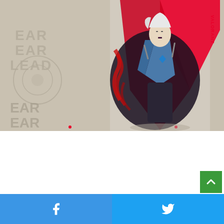[Figure (illustration): Valorant game promotional artwork showing a female character (Reyna) with white hair, holding knives, wearing a blue outfit with dark/red demonic shadow behind her. Large red V shape in background, decorative grey lettering on left side, red VALORANT text rotated vertically on right side. Beige/cream colored background.]
[Figure (other): Green scroll-to-top button with upward arrow chevron in bottom right corner]
[Figure (other): Social share bar at bottom: left half blue Facebook share button with Facebook logo icon, right half lighter blue Twitter share button with Twitter bird icon]